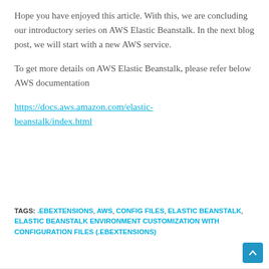Hope you have enjoyed this article. With this, we are concluding our introductory series on AWS Elastic Beanstalk. In the next blog post, we will start with a new AWS service.
To get more details on AWS Elastic Beanstalk, please refer below AWS documentation
https://docs.aws.amazon.com/elastic-beanstalk/index.html
TAGS: .EBEXTENSIONS, AWS, CONFIG FILES, ELASTIC BEANSTALK, ELASTIC BEANSTALK ENVIRONMENT CUSTOMIZATION WITH CONFIGURATION FILES (.EBEXTENSIONS)